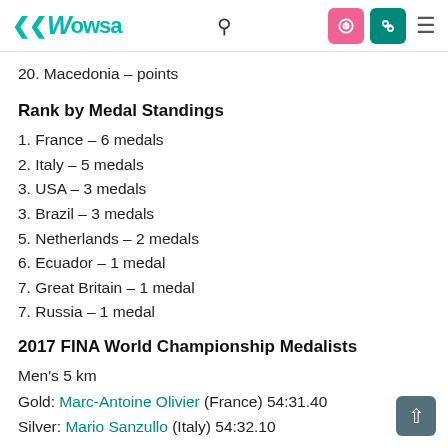WOWSA
20. Macedonia – points
Rank by Medal Standings
1. France – 6 medals
2. Italy – 5 medals
3. USA – 3 medals
3. Brazil – 3 medals
5. Netherlands – 2 medals
6. Ecuador – 1 medal
7. Great Britain – 1 medal
7. Russia – 1 medal
2017 FINA World Championship Medalists
Men's 5 km
Gold: Marc-Antoine Olivier (France) 54:31.40
Silver: Mario Sanzullo (Italy) 54:32.10